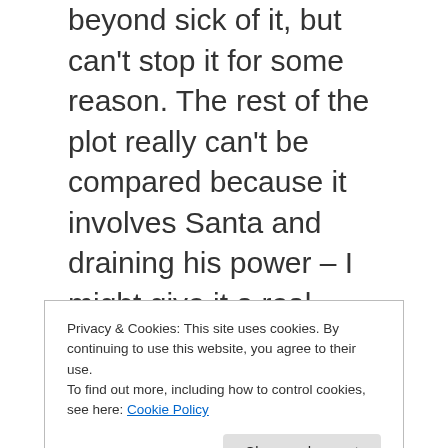beyond sick of it, but can't stop it for some reason. The rest of the plot really can't be compared because it involves Santa and draining his power – I might give it a real review this month.
The only thing I didn't really predict was that Huey, Dewey and Louie would actually aim to destroy Christmas for everyone. You could argue that they were just goofing around, but no. Donald makes a
Privacy & Cookies: This site uses cookies. By continuing to use this website, you agree to their use.
To find out more, including how to control cookies, see here: Cookie Policy
keep getting mad at them for doing it